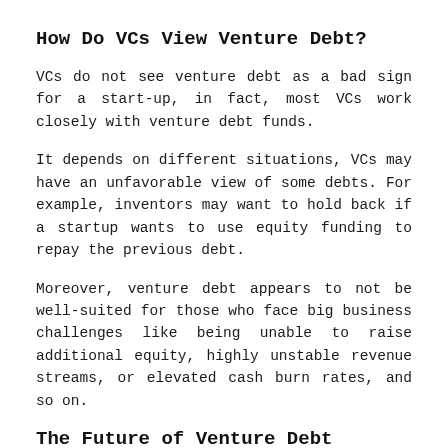How Do VCs View Venture Debt?
VCs do not see venture debt as a bad sign for a start-up, in fact, most VCs work closely with venture debt funds.
It depends on different situations, VCs may have an unfavorable view of some debts. For example, inventors may want to hold back if a startup wants to use equity funding to repay the previous debt.
Moreover, venture debt appears to not be well-suited for those who face big business challenges like being unable to raise additional equity, highly unstable revenue streams, or elevated cash burn rates, and so on.
The Future of Venture Debt